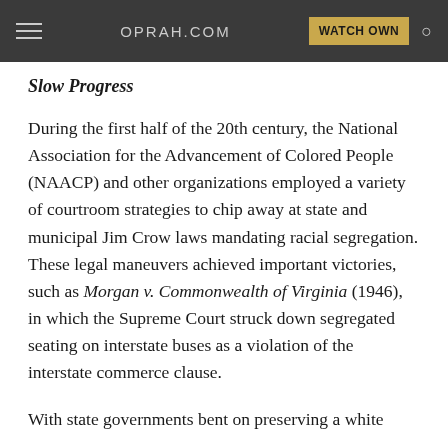OPRAH.COM | WATCH OWN
Slow Progress
During the first half of the 20th century, the National Association for the Advancement of Colored People (NAACP) and other organizations employed a variety of courtroom strategies to chip away at state and municipal Jim Crow laws mandating racial segregation. These legal maneuvers achieved important victories, such as Morgan v. Commonwealth of Virginia (1946), in which the Supreme Court struck down segregated seating on interstate buses as a violation of the interstate commerce clause.
With state governments bent on preserving a white